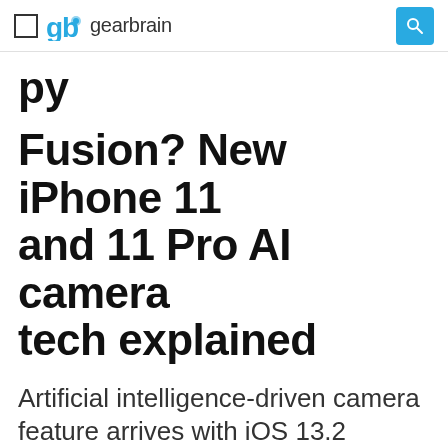gearbrain
Fusion? New iPhone 11 and 11 Pro AI camera tech explained
Artificial intelligence-driven camera feature arrives with iOS 13.2 update
Alistair Charlton   October 03 2019